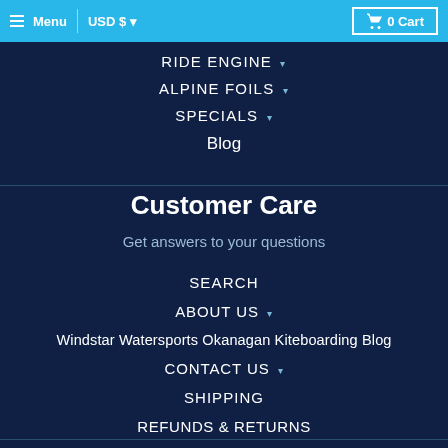Menu | USD $ | 0 Cart
RIDE ENGINE ▾
ALPINE FOILS ▾
SPECIALS ▾
Blog
Customer Care
Get answers to your questions
SEARCH
ABOUT US ▾
Windstar Watersports Okanagan Kiteboarding Blog
CONTACT US ▾
SHIPPING
REFUNDS & RETURNS
TERMS OF SERVICE
Terms of Service